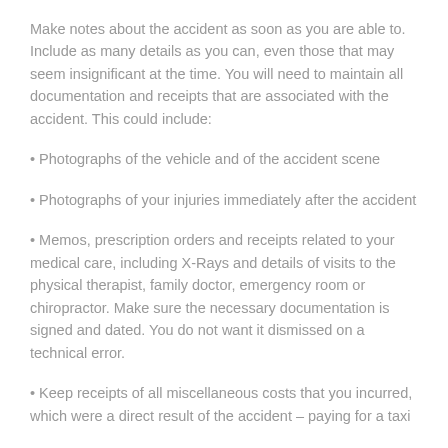Make notes about the accident as soon as you are able to. Include as many details as you can, even those that may seem insignificant at the time. You will need to maintain all documentation and receipts that are associated with the accident. This could include:
• Photographs of the vehicle and of the accident scene
• Photographs of your injuries immediately after the accident
• Memos, prescription orders and receipts related to your medical care, including X-Rays and details of visits to the physical therapist, family doctor, emergency room or chiropractor. Make sure the necessary documentation is signed and dated. You do not want it dismissed on a technical error.
• Keep receipts of all miscellaneous costs that you incurred, which were a direct result of the accident – paying for a taxi